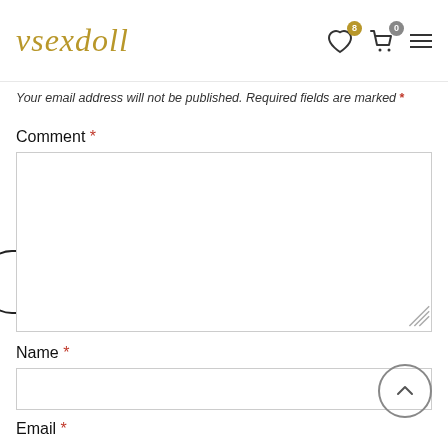vsexdoll
Your email address will not be published. Required fields are marked *
Comment *
Name *
Email *